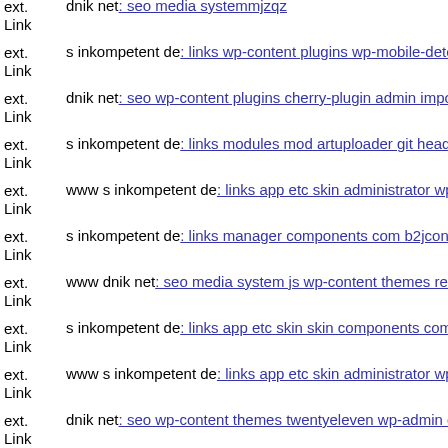ext. Link dnik net: seo media systemmjzqz
ext. Link s inkompetent de: links wp-content plugins wp-mobile-detector
ext. Link dnik net: seo wp-content plugins cherry-plugin admin import-export
ext. Link s inkompetent de: links modules mod artuploader git head
ext. Link www s inkompetent de: links app etc skin administrator wp-content
ext. Link s inkompetent de: links manager components com b2jcontact u
ext. Link www dnik net: seo media system js wp-content themes responzo
ext. Link s inkompetent de: links app etc skin skin components com b2jo
ext. Link www s inkompetent de: links app etc skin administrator wp-con
ext. Link dnik net: seo wp-content themes twentyeleven wp-admin dnik
ext. Link s inkompetent de: links wp-content plugins formcraft file-upload
ext. Link s inkompetent de: links admin administrator administrator wp-